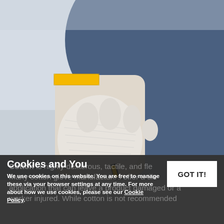[Figure (photo): A worker wearing a white knit glove and yellow wristband uses a utility knife or scoring tool on a metal surface or tile. Blue apron visible in background. Close-up industrial/construction work scene.]
[Figure (screenshot): Cookie consent overlay banner with title 'Cookies and You', body text about cookie usage, a 'GOT IT!' button, and partially visible background text about cotton gloves.]
Cookies and You
We use cookies on this website. You are free to manage these via your browser settings at any time. For more about how we use cookies, please see our Cookie Policy.
Cotton is highly dexterous, tactile, and flexible. Many cotton glove manufactures offer a tile application that can leave a product damaged or a worker injured. While cotton is not recommended